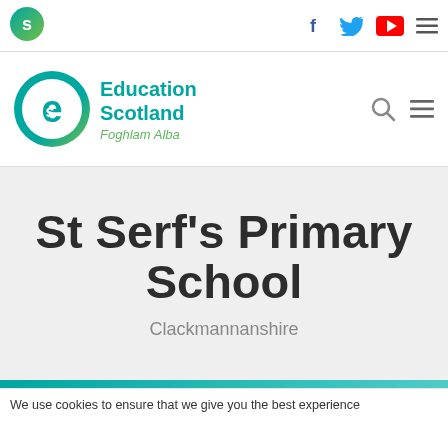Education Scotland (top navigation bar with social icons: Facebook, Twitter, YouTube, menu)
[Figure (logo): Education Scotland / Foghlam Alba logo with circular green/teal 'e' icon and organization name in teal]
St Serf's Primary School
Clackmannanshire
We use cookies to ensure that we give you the best experience